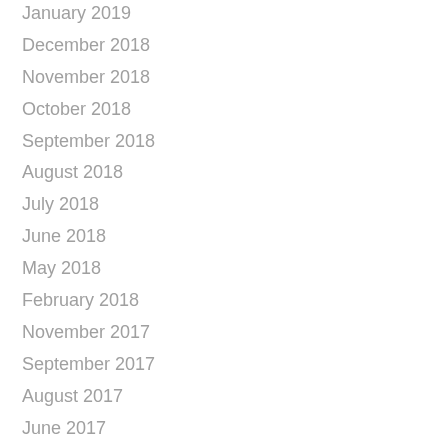January 2019
December 2018
November 2018
October 2018
September 2018
August 2018
July 2018
June 2018
May 2018
February 2018
November 2017
September 2017
August 2017
June 2017
May 2017
April 2017
February 2017
January 2017
December 2016